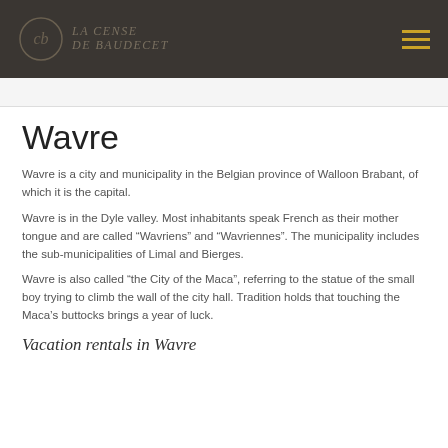La Cense de Baudecet
Wavre
Wavre is a city and municipality in the Belgian province of Walloon Brabant, of which it is the capital.
Wavre is in the Dyle valley. Most inhabitants speak French as their mother tongue and are called “Wavriens” and “Wavriennes”. The municipality includes the sub-municipalities of Limal and Bierges.
Wavre is also called “the City of the Maca”, referring to the statue of the small boy trying to climb the wall of the city hall. Tradition holds that touching the Maca’s buttocks brings a year of luck.
Vacation rentals in Wavre